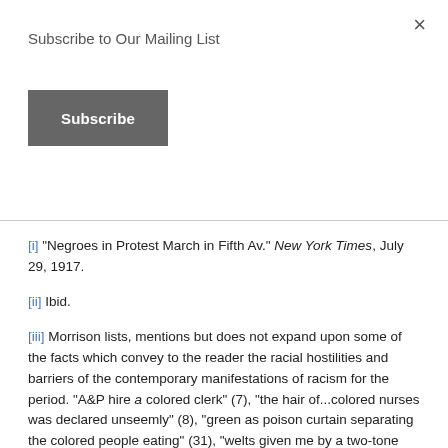Subscribe to Our Mailing List
Subscribe
×
[i] "Negroes in Protest March in Fifth Av." New York Times, July 29, 1917.
[ii] Ibid.
[iii] Morrison lists, mentions but does not expand upon some of the facts which convey to the reader the racial hostilities and barriers of the contemporary manifestations of racism for the period. "A&P hire a colored clerk" (7), "the hair of...colored nurses was declared unseemly" (8), "green as poison curtain separating the colored people eating" (31), "welts given me by a two-tone peckerwood" (96),